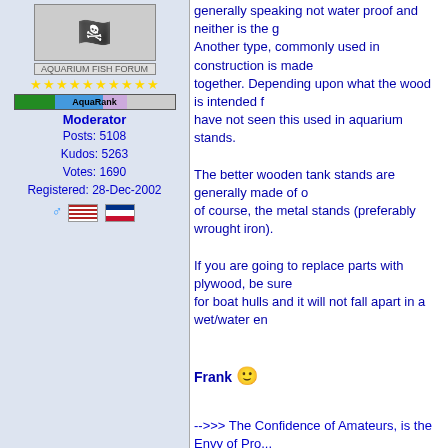generally speaking not water proof and neither is the g... Another type, commonly used in construction is made... together. Depending upon what the wood is intended f... have not seen this used in aquarium stands.
The better wooden tank stands are generally made of o... of course, the metal stands (preferably wrought iron).
If you are going to replace parts with plywood, be sure... for boat hulls and it will not fall apart in a wet/water en...
Frank 🙂
-->>> The Confidence of Amateurs, is the Envy of Pro...
Moderator
Posts: 5108
Kudos: 5263
Votes: 1690
Registered: 28-Dec-2002
Posted 27-Sep-2013 21:14  profile  pm  edit  delete  report post
Reply   New Topic
Jump to: Getting Started
The views expressed on this page are the implied opinions of their respective authors. Under no circumstances do the comments on this page represent the opinions of the staff of FishProfiles.com.
FishProfiles.com Forums, version 11.0
Mazeguy Smilies
Walk My Plank - Free Pirate Role Playing Game | Mazeguy Smilies
FishProfiles.com © 1997-2022 Adam Lundie.